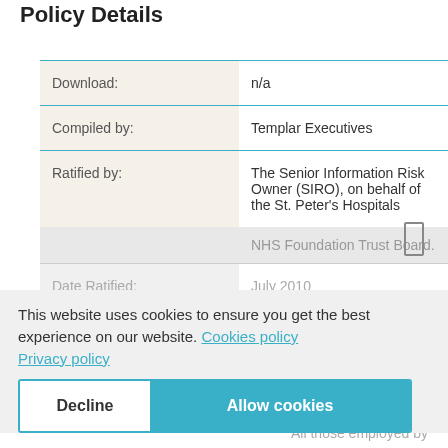Policy Details
| Field | Value |
| --- | --- |
| Download: | n/a |
| Compiled by: | Templar Executives |
| Ratified by: | The Senior Information Risk Owner (SIRO), on behalf of the St. Peter's Hospitals NHS Foundation Trust Board. |
| Date Ratified: | July 2010 |
|  | November 2020 |
| Review date: | July 2022 |
This website uses cookies to ensure you get the best experience on our website. Cookies policy Privacy policy
All those employed by